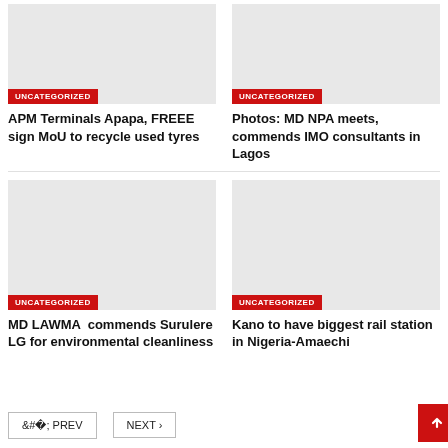[Figure (photo): Gray placeholder image for article 1 top-left]
UNCATEGORIZED
APM Terminals Apapa, FREEE sign MoU to recycle used tyres
[Figure (photo): Gray placeholder image for article 2 top-right]
UNCATEGORIZED
Photos: MD NPA meets, commends IMO consultants in Lagos
[Figure (photo): Gray placeholder image for article 3 bottom-left]
UNCATEGORIZED
MD LAWMA  commends Surulere LG for environmental cleanliness
[Figure (photo): Gray placeholder image for article 4 bottom-right]
UNCATEGORIZED
Kano to have biggest rail station in Nigeria-Amaechi
< PREV   NEXT >